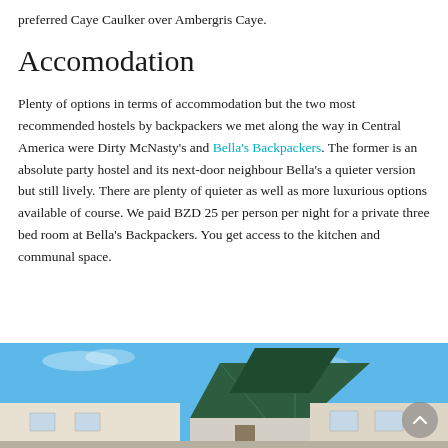preferred Caye Caulker over Ambergris Caye.
Accomodation
Plenty of options in terms of accommodation but the two most recommended hostels by backpackers we met along the way in Central America were Dirty McNasty's and Bella's Backpackers. The former is an absolute party hostel and its next-door neighbour Bella's a quieter version but still lively. There are plenty of quieter as well as more luxurious options available of course. We paid BZD 25 per person per night for a private three bed room at Bella's Backpackers. You get access to the kitchen and communal space.
[Figure (photo): Exterior photo of Bella's Backpackers or similar building in Caye Caulker, showing a triangular roof structure against a blue sky.]